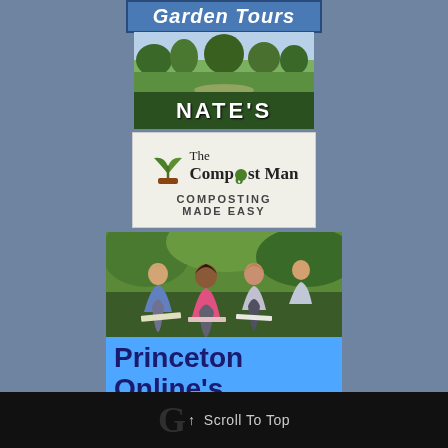Garden Tours
[Figure (logo): Nate's garden logo with green landscape background and NATE'S text in white letters on dark green banner]
[Figure (logo): The Compost Man logo with plant sprout icon and text 'COMPOSTING MADE EASY' on light background]
[Figure (photo): Students studying outdoors in a garden/green setting, Princeton Online's School Guide advertisement with blue background]
Princeton Online's School
↑ Scroll To Top